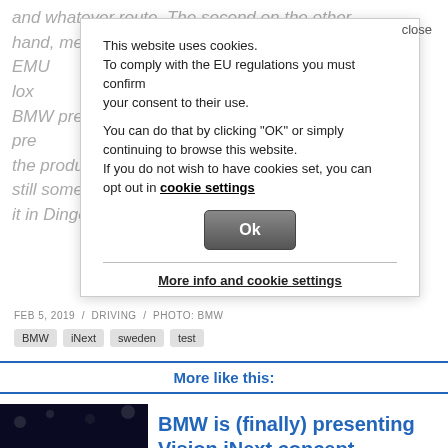and whatever route. The second on the other hand, mentioned surface also enables EMI...BMW presented the heated boxes pre...the production in about two years so there is still some time for te. BMW is going to build it in Dingolfing from... onward.
This website uses cookies.
To comply with the EU regulations you must confirm your consent to their use.

You can do that by clicking "OK" or simply continuing to browse this website.
If you do not wish to have cookies set, you can opt out in cookie settings
Ok
More info and cookie settings
FEB 5, 2019 / DRIVING / PHOTO: BMW
BMW
iNext
sweden
test
More like this:
[Figure (photo): BMW Vision iNext concept car on a dark stage with blue lighting]
BMW is (finally) presenting Vision iNext concept